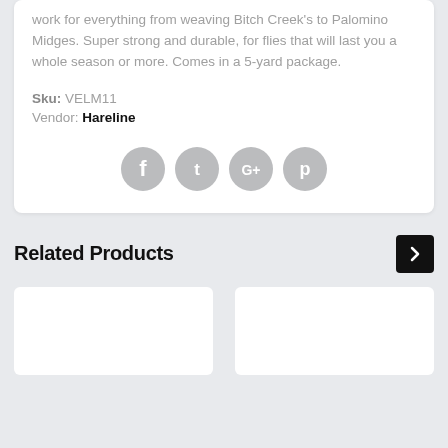work for everything from weaving Bitch Creek's to Palomino Midges. Super strong and durable, for flies that will last you a whole season or more. Comes in a 5-yard package.
Sku: VELM11
Vendor: Hareline
[Figure (other): Social media share icons: Facebook, Twitter, Google+, Pinterest — grey circular buttons]
Related Products
[Figure (other): Two white product card placeholders side by side in the Related Products section]